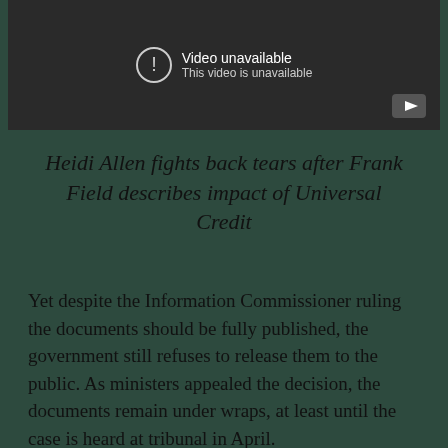[Figure (screenshot): YouTube video unavailable placeholder with dark background, showing exclamation icon, 'Video unavailable' and 'This video is unavailable' text, and a play button icon in the bottom right corner.]
Heidi Allen fights back tears after Frank Field describes impact of Universal Credit
Yet despite the Information Commissioner ruling the documents should be fully published, the government still refuses to release them to the public. As ministers appealed the decision, the documents remain under wraps, at least until the case is heard at tribunal in April.